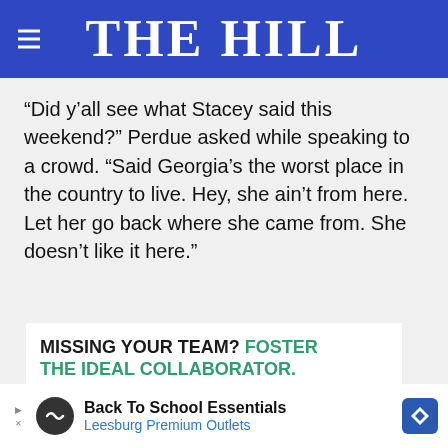THE HILL
“Did y’all see what Stacey said this weekend?” Perdue asked while speaking to a crowd. “Said Georgia’s the worst place in the country to live. Hey, she ain’t from here. Let her go back where she came from. She doesn’t like it here.”
[Figure (photo): Advertisement banner showing text 'MISSING YOUR TEAM? FOSTER THE IDEAL COLLABORATOR.' with a photo of a man interacting with a cat]
[Figure (infographic): Bottom advertisement bar: 'Back To School Essentials - Leesburg Premium Outlets' with brand logo icons]